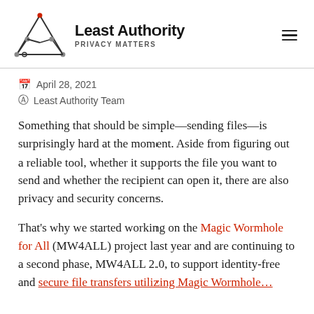Least Authority — PRIVACY MATTERS
April 28, 2021
Least Authority Team
Something that should be simple—sending files—is surprisingly hard at the moment. Aside from figuring out a reliable tool, whether it supports the file you want to send and whether the recipient can open it, there are also privacy and security concerns.
That's why we started working on the Magic Wormhole for All (MW4ALL) project last year and are continuing to a second phase, MW4ALL 2.0, to support identity-free and secure file transfers utilizing Magic Wormhole.